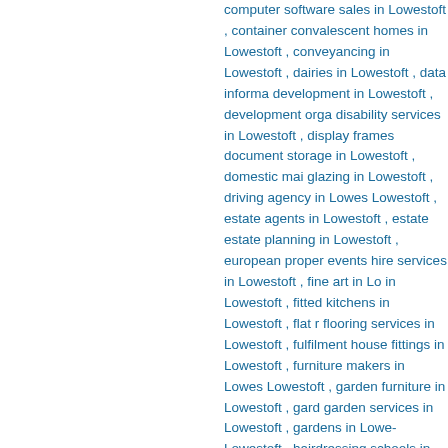computer software sales in Lowestoft , container convalescent homes in Lowestoft , conveyancing in Lowestoft , dairies in Lowestoft , data information development in Lowestoft , development organisations disability services in Lowestoft , display frames document storage in Lowestoft , domestic maintenance glazing in Lowestoft , driving agency in Lowestoft Lowestoft , estate agents in Lowestoft , estate estate planning in Lowestoft , european property events hire services in Lowestoft , fine art in Lowestoft in Lowestoft , fitted kitchens in Lowestoft , flat removal flooring services in Lowestoft , fulfilment house fittings in Lowestoft , furniture makers in Lowestoft Lowestoft , garden furniture in Lowestoft , garden garden services in Lowestoft , gardens in Lowestoft Lowestoft , hairdressing schools in Lowestoft , villas in Lowestoft , home information packs in Lowestoft , horse services in Lowestoft , horse history research in Lowestoft , household removal Lowestoft , independent schools in Lowestoft , internet advertising in Lowestoft , internet marketing investment managers in Lowestoft , investment Lowestoft , kitchenware in Lowestoft , kkitchen maintenance in Lowestoft , leasing in Lowestoft Lowestoft , letting agents in Lowestoft , lighting government in Lowestoft , logistics in Lowestoft hire in Lowestoft , messaging services in Lowestoft mobility services in Lowestoft , model in Lowestoft motorcycle sales in Lowestoft , nature in Lowestoft nurses agencies in Lowestoft , nursing homes leasing in Lowestoft , office equipment rental in office furniture in Lowestoft , office relocation in Lowestoft oil waste disposal in Lowestoft , outside catering Lowestoft , overseas property finance in Lowestoft Lowestoft , party ideas in Lowestoft , patio in Lowestoft , pet sitting in Lowestoft , petrol filling stations in studio hire in Lowestoft , plastering in Lowestoft portable toilets in Lowestoft , property in Lowestoft